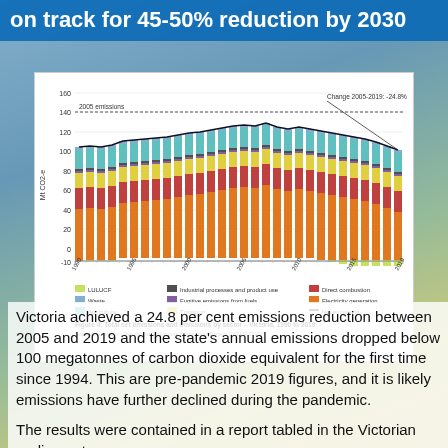on track for 45-50% reduction by 2030
[Figure (stacked-bar-chart): Stacked bar chart showing total net emissions and emissions by sector for Victoria from 1990 to 2019. Series include LULUCF, Waste, Agriculture, Industrial processes and product use, Fugitive emissions from fuels, Transport, Direct combustion, Electricity generation, Net emissions (line). Change 2005-2019: -24.8%.]
Figure 4: Total net emissions and emissions by sector – Victoria, 1990 to 2019
Victoria achieved a 24.8 per cent emissions reduction between 2005 and 2019 and the state's annual emissions dropped below 100 megatonnes of carbon dioxide equivalent for the first time since 1994. This are pre-pandemic 2019 figures, and it is likely emissions have further declined during the pandemic.
The results were contained in a report tabled in the Victorian parliament.